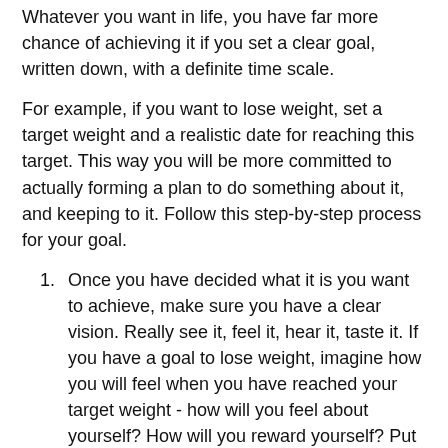Whatever you want in life, you have far more chance of achieving it if you set a clear goal, written down, with a definite time scale.
For example, if you want to lose weight, set a target weight and a realistic date for reaching this target. This way you will be more committed to actually forming a plan to do something about it, and keeping to it. Follow this step-by-step process for your goal.
Once you have decided what it is you want to achieve, make sure you have a clear vision. Really see it, feel it, hear it, taste it. If you have a goal to lose weight, imagine how you will feel when you have reached your target weight - how will you feel about yourself? How will you reward yourself? Put up pictures or inspirational quotes that you will see very day to remind you of what your goal looks like.
Secondly make your goal measurable. Something